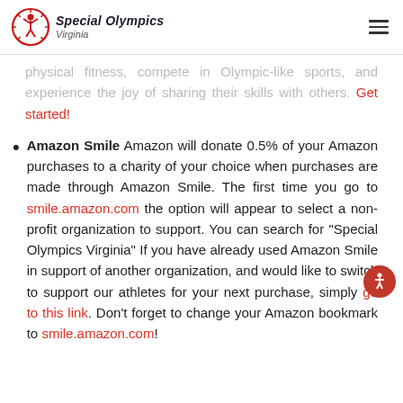Special Olympics Virginia
physical fitness, compete in Olympic-like sports, and experience the joy of sharing their skills with others. Get started!
Amazon Smile Amazon will donate 0.5% of your Amazon purchases to a charity of your choice when purchases are made through Amazon Smile. The first time you go to smile.amazon.com the option will appear to select a non-profit organization to support. You can search for “Special Olympics Virginia” If you have already used Amazon Smile in support of another organization, and would like to switch to support our athletes for your next purchase, simply go to this link. Don’t forget to change your Amazon bookmark to smile.amazon.com!